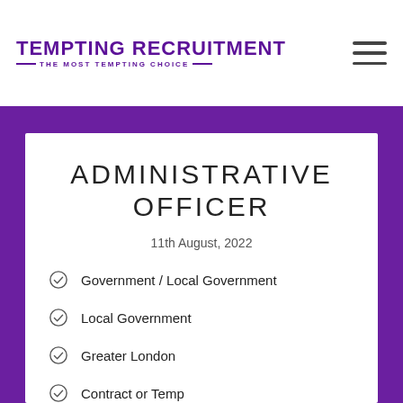TEMPTING RECRUITMENT — THE MOST TEMPTING CHOICE —
ADMINISTRATIVE OFFICER
11th August, 2022
Government / Local Government
Local Government
Greater London
Contract or Temp